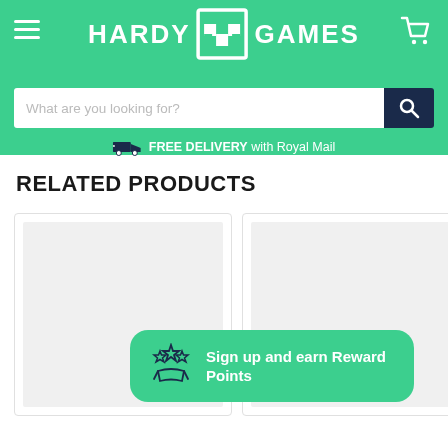[Figure (logo): Hardy Games logo with green header, hamburger menu icon on left, shopping cart icon on right, Hardy Games text with H+ icon in white]
What are you looking for?
FREE DELIVERY with Royal Mail
RELATED PRODUCTS
[Figure (screenshot): Two product card placeholders side by side with gray image placeholder boxes]
Sign up and earn Reward Points